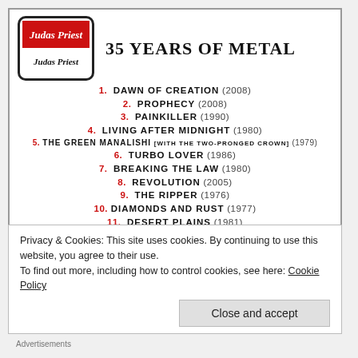[Figure (logo): Judas Priest logo patch with red and white diagonal design and stylized text]
35 YEARS OF METAL
1. DAWN OF CREATION (2008)
2. PROPHECY (2008)
3. PAINKILLER (1990)
4. LIVING AFTER MIDNIGHT (1980)
5. THE GREEN MANALISHI [WITH THE TWO-PRONGED CROWN] (1979)
6. TURBO LOVER (1986)
7. BREAKING THE LAW (1980)
8. REVOLUTION (2005)
9. THE RIPPER (1976)
10. DIAMONDS AND RUST (1977)
11. DESERT PLAINS (1981)
12. JUGULATOR (1997)
Privacy & Cookies: This site uses cookies. By continuing to use this website, you agree to their use. To find out more, including how to control cookies, see here: Cookie Policy
Close and accept
Advertisements